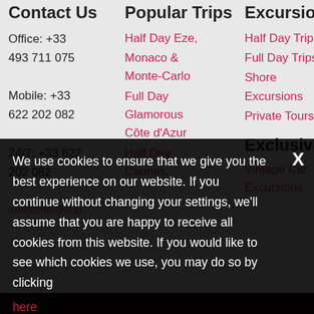Contact Us
Office: +33
493 711 075
Mobile: +33
622 202 082
24/7: +33 622 202 082
welcome@sun
Popular Trips
Half Day Eze, Monaco & Monte-Carlo
Full Day Glamorous Côte d'Azur
Half Day Cannes,
Excursions
Half Day Trips
Full Day Trips
Shore Excursions
Private Tours
Exclusives
Vintage Car Excursions
Share
[Figure (illustration): Social media icons: Facebook (blue circle), Twitter (blue circle), Tumblr (dark circle), StumbleUpon (orange circle)]
We use cookies to ensure that we give you the best experience on our website. If you continue without changing your settings, we'll assume that you are happy to receive all cookies from this website. If you would like to see which cookies we use, you may do so by clicking
here